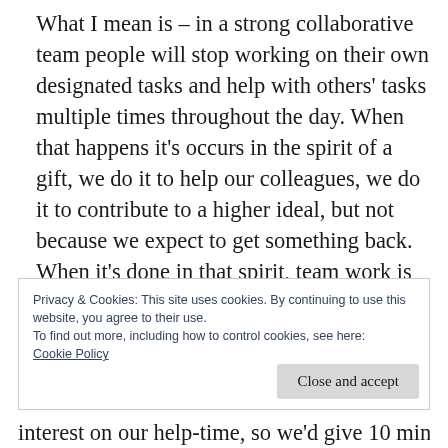What I mean is – in a strong collaborative team people will stop working on their own designated tasks and help with others' tasks multiple times throughout the day. When that happens it's occurs in the spirit of a gift, we do it to help our colleagues, we do it to contribute to a higher ideal, but not because we expect to get something back. When it's done in that spirit, team work is free flowing and organisations thrive I believe.
Privacy & Cookies: This site uses cookies. By continuing to use this website, you agree to their use.
To find out more, including how to control cookies, see here:
Cookie Policy
Close and accept
interest on our help-time, so we'd give 10 mins